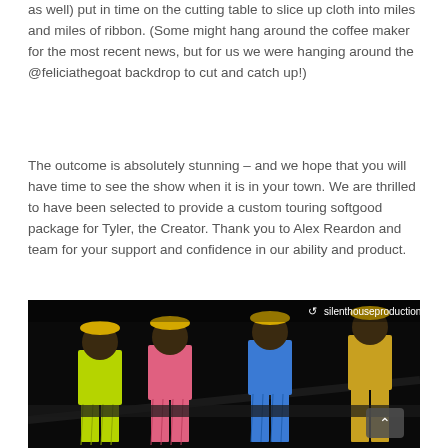as well) put in time on the cutting table to slice up cloth into miles and miles of ribbon. (Some might hang around the coffee maker for the most recent news, but for us we were hanging around the @feliciathegoat backdrop to cut and catch up!)
The outcome is absolutely stunning – and we hope that you will have time to see the show when it is in your town. We are thrilled to have been selected to provide a custom touring softgood package for Tyler, the Creator. Thank you to Alex Reardon and team for your support and confidence in our ability and product.
[Figure (photo): Instagram photo reposted from silenthouseproductions showing performers on stage wearing colorful fringe suits (yellow-green, pink, blue, gold) with yellow hats against a dark background. An Instagram retweet icon and the username 'silenthouseproductions' appear at the top. A gray chevron/up-arrow button appears in the lower right.]